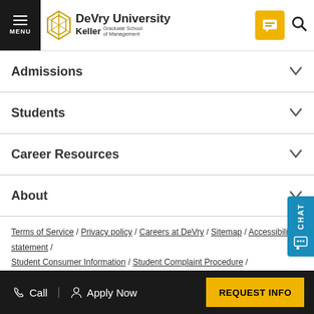DeVry University Keller Graduate School of Management
Admissions
Students
Career Resources
About
Terms of Service / Privacy policy / Careers at DeVry / Sitemap / Accessibility statement / Student Consumer Information / Student Complaint Procedure / California State Disclosures / School Performance Fact Sheets /
Call | Apply Now | REQUEST INFO